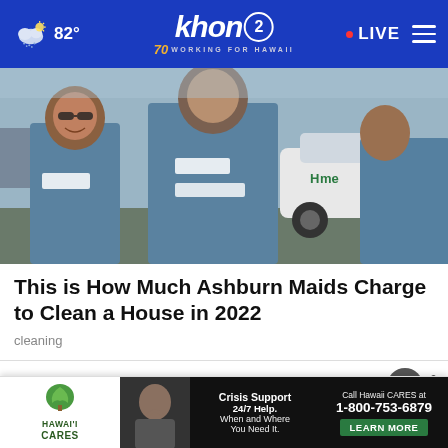khon2 WORKING FOR HAWAII — 82° — LIVE
[Figure (photo): Three women in blue uniform shirts standing in front of a white car, appearing to be cleaning service staff]
This is How Much Ashburn Maids Charge to Clean a House in 2022
cleaning
WHAT DO YOU THINK?
Do yo
[Figure (screenshot): Hawaii CARES advertisement banner: Crisis Support 24/7 Help. When and Where You Need It. Call Hawaii CARES at 1-800-753-6879. LEARN MORE]